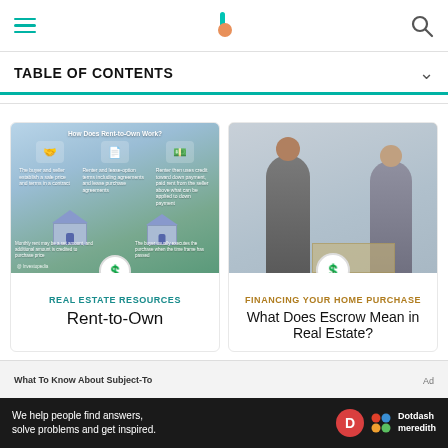Investopedia header with menu, logo, and search
TABLE OF CONTENTS
[Figure (infographic): How Does Rent-to-Own Work? infographic showing houses and process steps with coin icon]
REAL ESTATE RESOURCES
Rent-to-Own
[Figure (photo): Two men in a kitchen, one holding a dog, appearing to be in conversation about a home purchase]
FINANCING YOUR HOME PURCHASE
What Does Escrow Mean in Real Estate?
What To Know About Subject-To
We help people find answers, solve problems and get inspired. Dotdash meredith